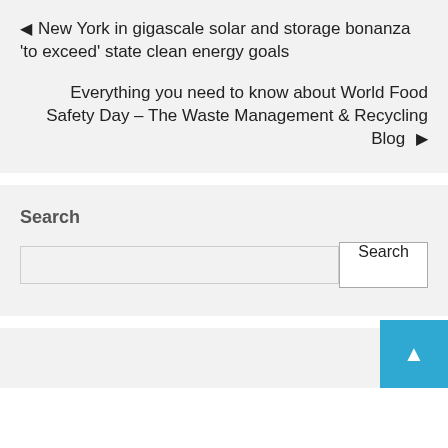◄ New York in gigascale solar and storage bonanza 'to exceed' state clean energy goals
Everything you need to know about World Food Safety Day – The Waste Management & Recycling Blog ►
Search
Search